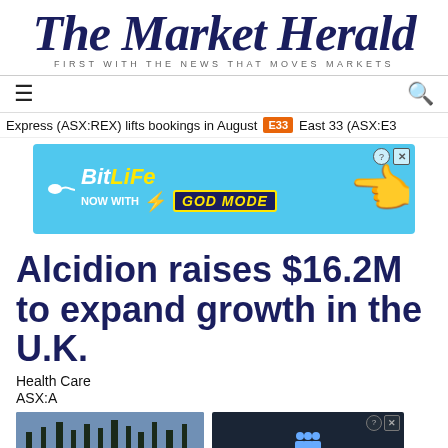The Market Herald — FIRST WITH THE NEWS THAT MOVES MARKETS
[Figure (screenshot): Navigation bar with hamburger menu and search icon]
Express (ASX:REX) lifts bookings in August  E33  East 33 (ASX:E3
[Figure (photo): BitLife advertisement banner: NOW WITH GOD MODE]
Alcidion raises $16.2M to expand growth in the U.K.
Health Care
ASX:A
[Figure (screenshot): Article image showing trees and a Hold and Move advertisement overlay]